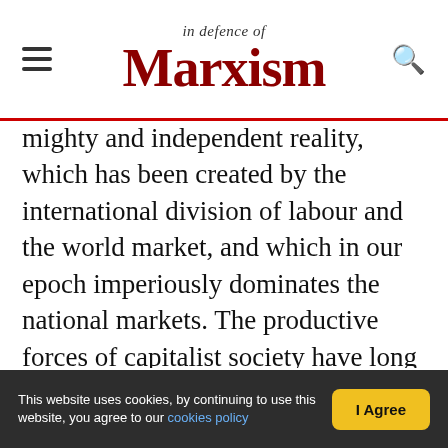In Defence of Marxism
mighty and independent reality, which has been created by the international division of labour and the world market, and which in our epoch imperiously dominates the national markets. The productive forces of capitalist society have long ago outgrown the national boundaries. The imperialist war (of 1914-1918) was one of the expressions of this fact. In respect of the technique of production, socialist society must represent a stage higher than capitalism. To aim at building a nationally isolated socialist society means, in spite of all passing successes, to pull the productive forces backward
This website uses cookies, by continuing to use this website, you agree to our cookies policy  I Agree